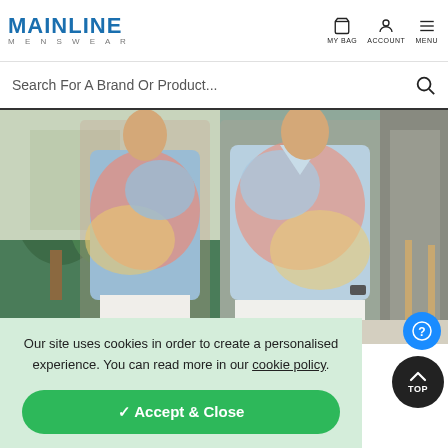MAINLINE MENSWEAR — MY BAG, ACCOUNT, MENU
Search For A Brand Or Product...
[Figure (photo): Two men wearing Polo Ralph Lauren tie-dye short-sleeve shirts in pink, blue, and yellow, standing outdoors in front of a modern building with greenery]
Our site uses cookies in order to create a personalised experience. You can read more in our cookie policy.
✓ Accept & Close